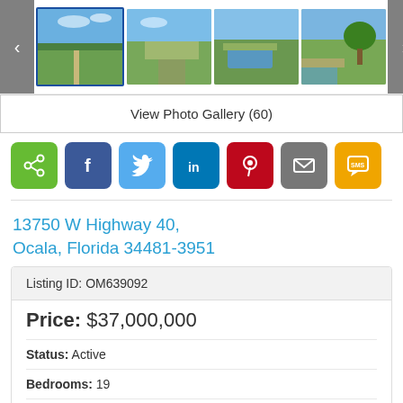[Figure (photo): Real estate photo gallery strip showing aerial/landscape property photos with navigation arrows on left and right. First thumbnail is selected (blue border). Four thumbnails visible showing aerial views of a property with green fields, pathways, and water features.]
View Photo Gallery (60)
[Figure (infographic): Social sharing buttons row: share (green), Facebook (dark blue), Twitter (light blue), LinkedIn (blue), Pinterest (red), email (gray), SMS (yellow/gold)]
13750 W Highway 40,
Ocala, Florida 34481-3951
| Listing ID: OM639092 |
| Price: $37,000,000 |
| Status: Active |
| Bedrooms: 19 |
| Total Baths: 16 |